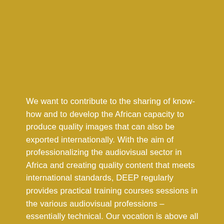We want to contribute to the sharing of know-how and to develop the African capacity to produce quality images that can also be exported internationally. With the aim of professionalizing the audiovisual sector in Africa and creating quality content that meets international standards, DEEP regularly provides practical training courses sessions in the various audiovisual professions – essentially technical. Our vocation is above all to empower a generation of talents that will move Africa forward through film, media and technology innovation.